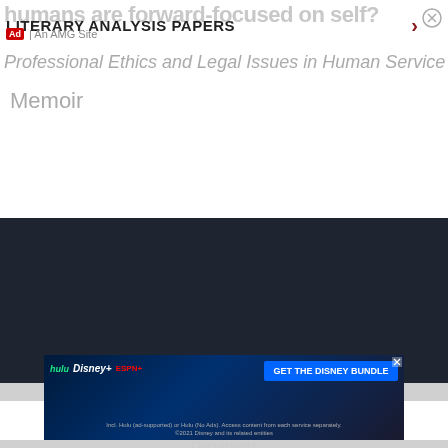humans are forward-focused on self?
LITERARY ANALYSIS PAPERS
Ad | An AMG Site
Professional Ethics and Legal Issues in Human Service
Memoir
[Figure (logo): StudyMode lightbulb logo with text 'StudyMode' in dark footer section]
[Figure (infographic): Social media icons: Facebook, Twitter, Instagram in circular borders]
[Figure (infographic): Disney Bundle advertisement banner with Hulu, Disney+, ESPN+ logos and 'GET THE DISNEY BUNDLE' CTA. Fine print: 'Incl. Hulu (ad-supported) or Hulu (No Ads). Access content from each service separately. ©2021 Disney and its related entities']